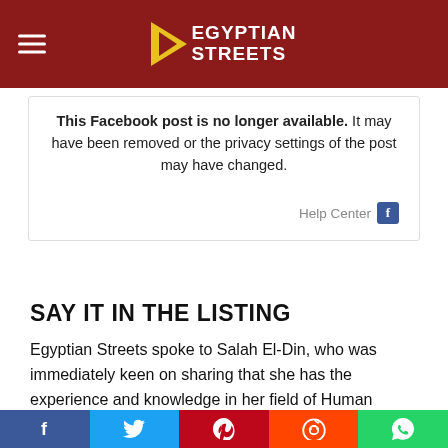Egyptian Streets
[Figure (screenshot): Facebook embedded post unavailable message box reading: 'This Facebook post is no longer available. It may have been removed or the privacy settings of the post may have changed.' with a Help Center link and Facebook icon.]
SAY IT IN THE LISTING
Egyptian Streets spoke to Salah El-Din, who was immediately keen on sharing that she has the experience and knowledge in her field of Human Resources (HR), as well as a degree in the same field, as many people reacted to her Facebook post, she says, claiming that the reason she was being
Social share bar: Facebook, Twitter, Pinterest, Reddit, WhatsApp